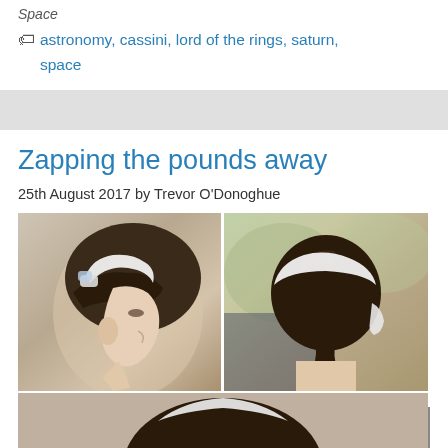Space
astronomy, cassini, lord of the rings, saturn, space
Zapping the pounds away
25th August 2017 by Trevor O'Donoghue
[Figure (photo): Two side-by-side photos of a woman wearing a white head device, side profile and back view, followed by a partial third photo below.]